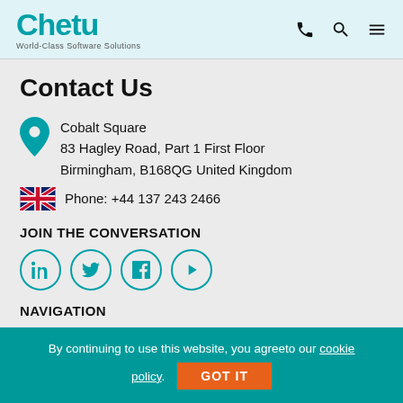Chetu World-Class Software Solutions
Contact Us
Cobalt Square
83 Hagley Road, Part 1 First Floor
Birmingham, B168QG United Kingdom
Phone: +44 137 243 2466
JOIN THE CONVERSATION
[Figure (other): Social media icons: LinkedIn, Twitter, Facebook, YouTube]
NAVIGATION
By continuing to use this website, you agreeto our cookie policy.
GOT IT